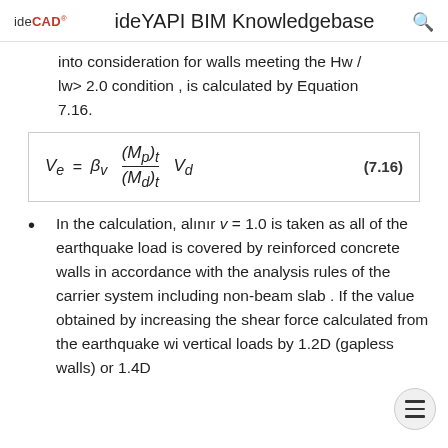ideCAD  ideYAPI BIM Knowledgebase
into consideration for walls meeting the Hw / lw> 2.0 condition , is calculated by Equation 7.16.
In the calculation, alınır v = 1.0 is taken as all of the earthquake load is covered by reinforced concrete walls in accordance with the analysis rules of the carrier system including non-beam slab . If the value obtained by increasing the shear force calculated from the earthquake wi vertical loads by 1.2D (gapless walls) or 1.4D